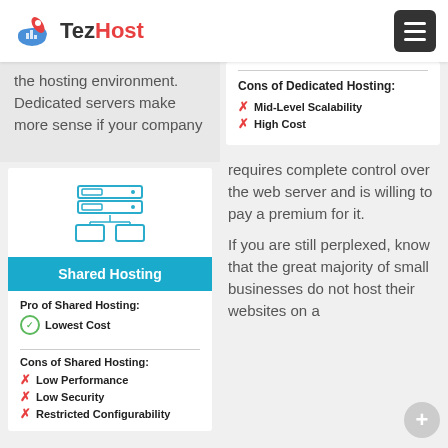TezHost
the hosting environment. Dedicated servers make more sense if your company
Cons of Dedicated Hosting:
✗ Mid-Level Scalability
✗ High Cost
[Figure (illustration): Icon of server rack and two monitors representing shared hosting]
Shared Hosting
Pro of Shared Hosting:
✓ Lowest Cost
Cons of Shared Hosting:
✗ Low Performance
✗ Low Security
✗ Restricted Configurability
requires complete control over the web server and is willing to pay a premium for it.
If you are still perplexed, know that the great majority of small businesses do not host their websites on a